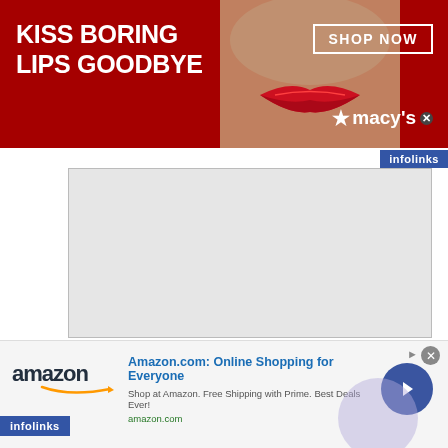[Figure (screenshot): Macy's advertisement banner: dark red background with white text 'KISS BORING LIPS GOODBYE', woman's face with red lips in center, 'SHOP NOW' button and Macy's star logo on right side.]
[Figure (screenshot): Infolinks label badge in blue on top-right corner below Macy's ad.]
[Figure (screenshot): Grey rectangular advertisement block placeholder.]
September 29: Jesse Prince, ‘The Expert Witness’ (2018)
“Our thanks to Jesse for allowing us to reproduce excerpt. It takes place a couple of years after
[Figure (screenshot): Amazon advertisement: logo on left, headline 'Amazon.com: Online Shopping for Everyone', subtext 'Shop at Amazon. Free Shipping with Prime. Best Deals Ever!', amazon.com URL, blue circle with right arrow on right side.]